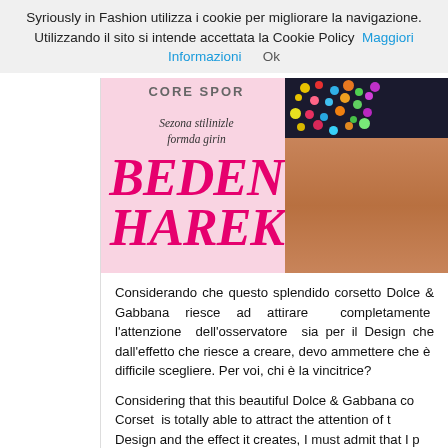Syriously in Fashion utilizza i cookie per migliorare la navigazione. Utilizzando il sito si intende accettata la Cookie Policy  Maggiori Informazioni    Ok
[Figure (photo): Magazine cover showing text CORE SPOR, Sezona stilinizle formda girin, BEDEN HAREK in large pink italic letters, with a woman wearing a jeweled/sequined dark top on the right side]
Considerando che questo splendido corsetto Dolce attirare completamente l'attenzione dell'osservato dall'effetto che riesce a creare, devo ammettere che Per voi, chi è la vincitrice?
Considering that this beautiful Dolce & Gabbana co Corset is totally able to attract the attention of t Design and the effect it creates, I must admit that I p Who do you consider the winner?